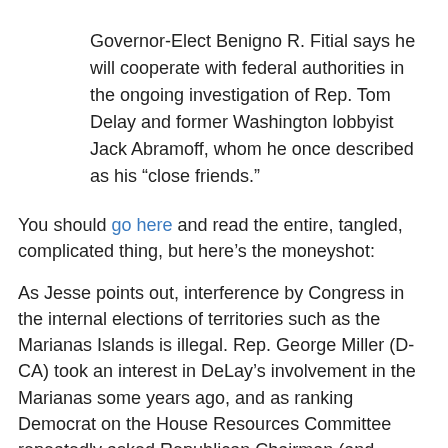Governor-Elect Benigno R. Fitial says he will cooperate with federal authorities in the ongoing investigation of Rep. Tom Delay and former Washington lobbyist Jack Abramoff, whom he once described as his “close friends.”
You should go here and read the entire, tangled, complicated thing, but here’s the moneyshot:
As Jesse points out, interference by Congress in the internal elections of territories such as the Marianas Islands is illegal. Rep. George Miller (D-CA) took an interest in DeLay’s involvement in the Marianas some years ago, and as ranking Democrat on the House Resources Committee repeatedly asked Republican Chairman (and Abramoff implicatee) Richard Pombo to investigate. Pombo stonewalled but eventually co-signed a letter to the Department of Justice asking them to expand the Abramoff